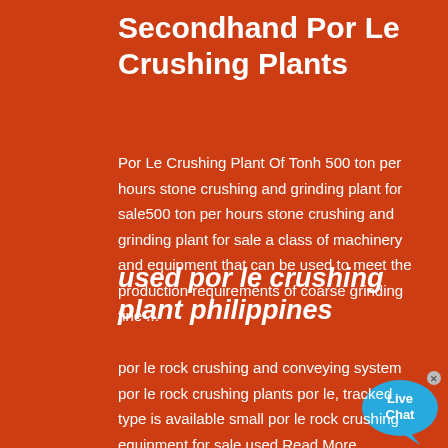Secondhand Por Le Crushing Plants
Por Le Crushing Plant Of Tonh 500 ton per hours stone crushing and grinding plant for sale500 ton per hours stone crushing and grinding plant for sale a class of machinery and equipment that can be used to meet the production requirements of coarse grinding fine ...
used por le crushing plant philippines
por le rock crushing and conveying system por le rock crushing plants por le, tracked type is available small por le rock crushing equipment for sale used Read More